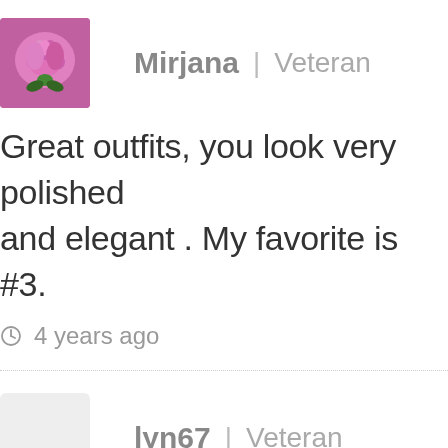[Figure (photo): User avatar: pink/magenta rose photo]
Mirjana | Veteran
Great outfits, you look very polished and elegant . My favorite is #3.
4 years ago
[Figure (photo): User avatar placeholder: light gray square]
lyn67 | Veteran
Wow, some really great outfits here like nr 1 (as am a dark combos with pop of color lover) and am amazed